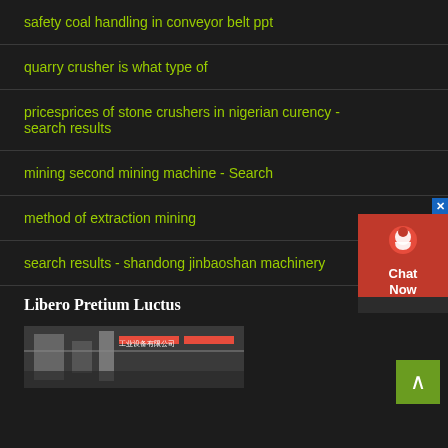safety coal handling in conveyor belt ppt
quarry crusher is what type of
pricesprices of stone crushers in nigerian curency - search results
mining second mining machine - Search
method of extraction mining
search results - shandong jinbaoshan machinery
Libero Pretium Luctus
[Figure (photo): Industrial machinery photo with Chinese text signage in background]